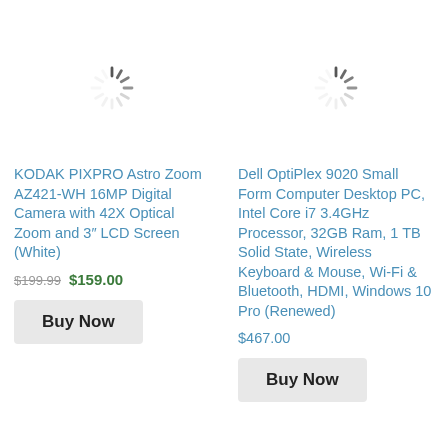[Figure (illustration): Loading spinner icon (rotating dashes in a circle) for first product]
[Figure (illustration): Loading spinner icon (rotating dashes in a circle) for second product]
KODAK PIXPRO Astro Zoom AZ421-WH 16MP Digital Camera with 42X Optical Zoom and 3″ LCD Screen (White)
Dell OptiPlex 9020 Small Form Computer Desktop PC, Intel Core i7 3.4GHz Processor, 32GB Ram, 1 TB Solid State, Wireless Keyboard & Mouse, Wi-Fi & Bluetooth, HDMI, Windows 10 Pro (Renewed)
$199.99  $159.00
$467.00
Buy Now
Buy Now